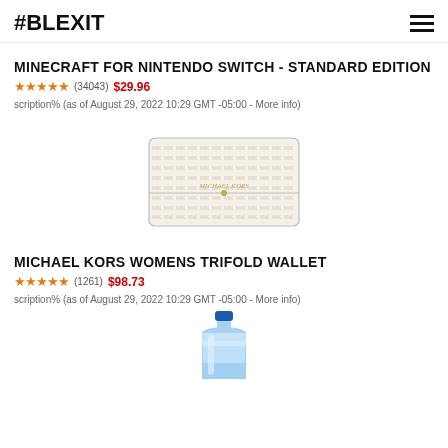#BLEXIT
MINECRAFT FOR NINTENDO SWITCH - STANDARD EDITION
★★★★★ (34043) $29.96 scription% (as of August 29, 2022 10:29 GMT -05:00 - More info)
[Figure (photo): Michael Kors white monogram trifold wallet]
MICHAEL KORS WOMENS TRIFOLD WALLET
★★★★★ (1261) $98.73 scription% (as of August 29, 2022 10:29 GMT -05:00 - More info)
[Figure (photo): Water bottle, partially visible at bottom of page]